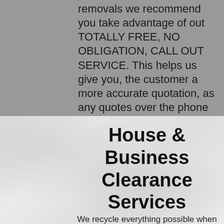removals we recommend you take advantage of out TOTALLY FREE, NO OBLIGATION, CALL OUT SERVICE. This helps us give you, the customer a more accurate quotation, as any quotes over the phone are just an estimate unless you opt for our per hour prices.
House & Business Clearance Services
We recycle everything possible when